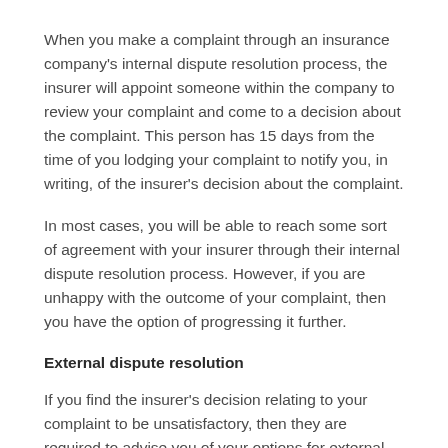When you make a complaint through an insurance company's internal dispute resolution process, the insurer will appoint someone within the company to review your complaint and come to a decision about the complaint. This person has 15 days from the time of you lodging your complaint to notify you, in writing, of the insurer's decision about the complaint.
In most cases, you will be able to reach some sort of agreement with your insurer through their internal dispute resolution process. However, if you are unhappy with the outcome of your complaint, then you have the option of progressing it further.
External dispute resolution
If you find the insurer's decision relating to your complaint to be unsatisfactory, then they are required to advise you of your options for external dispute